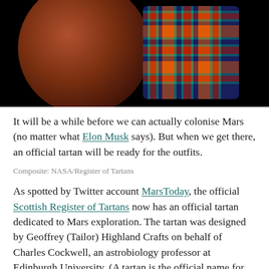[Figure (photo): A dark composite image showing a Mars globe on the left against a black background, with a colorful Scottish tartan pattern (red, blue, orange, green plaid) overlaid on the right portion of the globe.]
Composite: NASA/Register of Tartans
It will be a while before we can actually colonise Mars (no matter what Elon Musk says). But when we get there, an official tartan will be ready for the outfits.
As spotted by Twitter account MarsToday, the official Scottish Register of Tartans now has an official tartan dedicated to Mars exploration. The tartan was designed by Geoffrey (Tailor) Highland Crafts on behalf of Charles Cockwell, an astrobiology professor at Edinburgh University. (A tartan is the official name for the pattern. In Australia, we sometimes call it plaid, whereas in Scotland a “plaid” refers